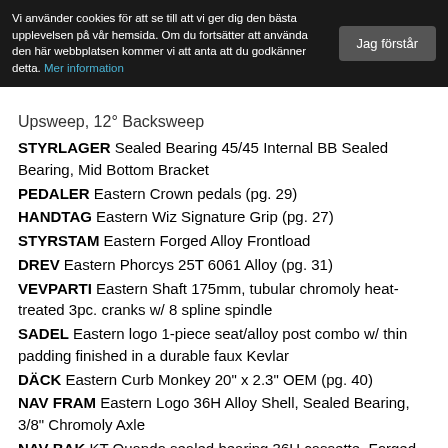Vi använder cookies för att se till att vi ger dig den bästa upplevelsen på vår hemsida. Om du fortsätter att använda den här webbplatsen kommer vi att anta att du godkänner detta. Mer information | Jag förstår
Upsweep, 12° Backsweep
STYRLAGER Sealed Bearing 45/45 Internal BB Sealed Bearing, Mid Bottom Bracket
PEDALER Eastern Crown pedals (pg. 29)
HANDTAG Eastern Wiz Signature Grip (pg. 27)
STYRSTAM Eastern Forged Alloy Frontload
DREV Eastern Phorcys 25T 6061 Alloy (pg. 31)
VEVPARTI Eastern Shaft 175mm, tubular chromoly heat-treated 3pc. cranks w/ 8 spline spindle
SADEL Eastern logo 1-piece seat/alloy post combo w/ thin padding finished in a durable faux Kevlar
DÄCK Eastern Curb Monkey 20" x 2.3" OEM (pg. 40)
NAV FRAM Eastern Logo 36H Alloy Shell, Sealed Bearing, 3/8" Chromoly Axle
NAV BAK KT Quando sealed bearing 36H cassette. Forged 6061 alloy shell, 1-piece 9-tooth driver, hollow 14mm chromoly axle, 5 sealed bearings & low-profile hub shell specially designed to accommodate the Eastern Pop-n-Loc hub guard
HJUL Double Wall Alloy, 36 Hole